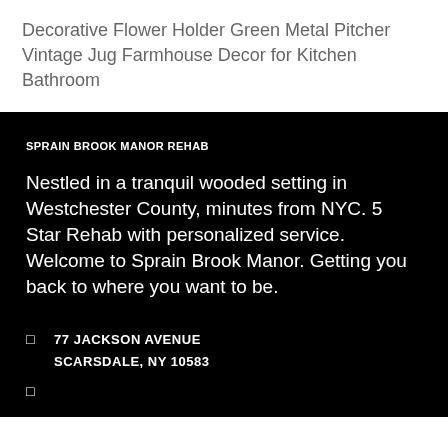Decorative Flower Holder Green Metal Pitcher Vintage Jug Farmhouse Decor for Kitchen Bathroom
SPRAIN BROOK MANOR REHAB
Nestled in a tranquil wooded setting in Westchester County, minutes from NYC. 5 Star Rehab with personalized service. Welcome to Sprain Brook Manor. Getting you back to where you want to be.
77 JACKSON AVENUE
SCARSDALE, NY 10583